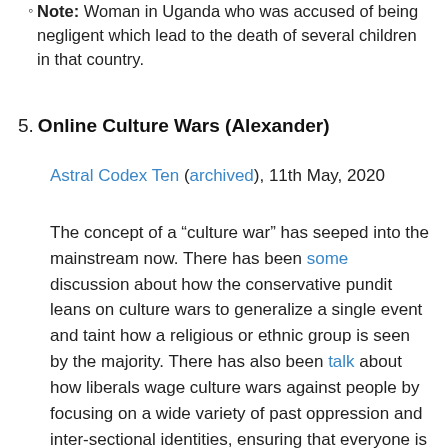Note: Woman in Uganda who was accused of being negligent which lead to the death of several children in that country.
5. Online Culture Wars (Alexander)
Astral Codex Ten (archived), 11th May, 2020
The concept of a “culture war” has seeped into the mainstream now. There has been some discussion about how the conservative pundit leans on culture wars to generalize a single event and taint how a religious or ethnic group is seen by the majority. There has also been talk about how liberals wage culture wars against people by focusing on a wide variety of past oppression and inter-sectional identities, ensuring that everyone is uncertain about whether they are the oppressor or the oppressed in a given situation, and consequently, much to the liberals’ delight,